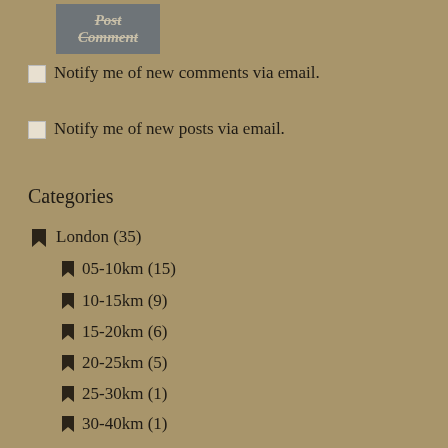Post Comment
Notify me of new comments via email.
Notify me of new posts via email.
Categories
London (35)
05-10km (15)
10-15km (9)
15-20km (6)
20-25km (5)
25-30km (1)
30-40km (1)
London LOOP (4)
The Capital Ring (15)
The Netherlands (11)